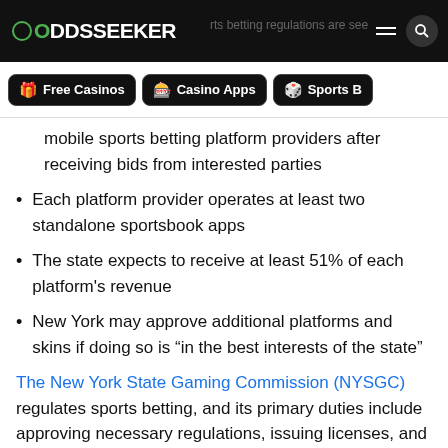ODDSSEEKER — sports betting regulations are seek…
mobile sports betting platform providers after receiving bids from interested parties
Each platform provider operates at least two standalone sportsbook apps
The state expects to receive at least 51% of each platform's revenue
New York may approve additional platforms and skins if doing so is “in the best interests of the state”
The New York State Gaming Commission (NYSGC) regulates sports betting, and its primary duties include approving necessary regulations, issuing licenses, and monitoring licensees for compliance with all rules.